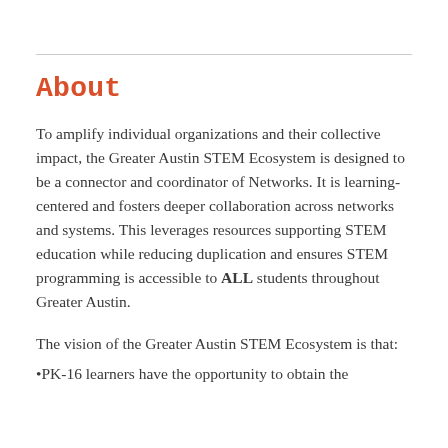About
To amplify individual organizations and their collective impact, the Greater Austin STEM Ecosystem is designed to be a connector and coordinator of Networks. It is learning-centered and fosters deeper collaboration across networks and systems. This leverages resources supporting STEM education while reducing duplication and ensures STEM programming is accessible to ALL students throughout Greater Austin.
The vision of the Greater Austin STEM Ecosystem is that:
•PK-16 learners have the opportunity to obtain the